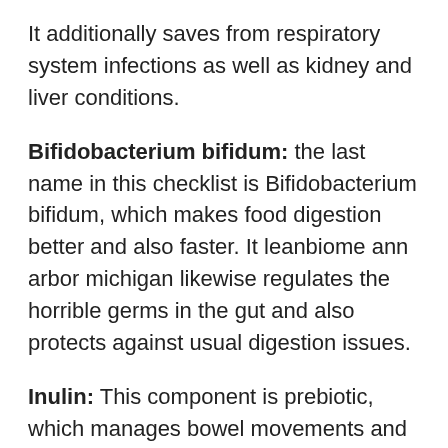It additionally saves from respiratory system infections as well as kidney and liver conditions.
Bifidobacterium bifidum: the last name in this checklist is Bifidobacterium bifidum, which makes food digestion better and also faster. It leanbiome ann arbor michigan likewise regulates the horrible germs in the gut and also protects against usual digestion issues.
Inulin: This component is prebiotic, which manages bowel movements and also help in food digestion. Without inulin, problems such as windiness, bowel irregularity, as well as acidity may show up, making food digestion awkward. In addition to that, inulin helps in the growth and